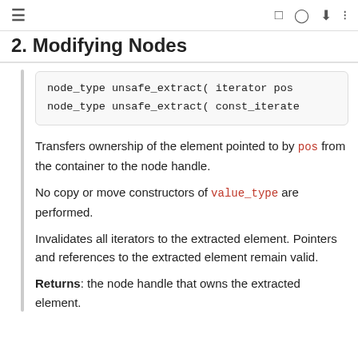≡   [ ]  ⊙  ⬇  :=
2. Modifying nodes
node_type unsafe_extract( iterator pos
node_type unsafe_extract( const_iterato
Transfers ownership of the element pointed to by pos from the container to the node handle.
No copy or move constructors of value_type are performed.
Invalidates all iterators to the extracted element. Pointers and references to the extracted element remain valid.
Returns: the node handle that owns the extracted element.